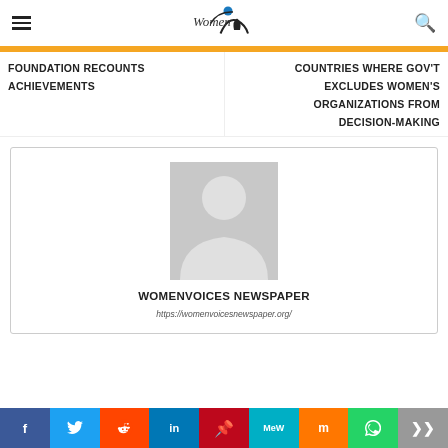WomenVoices Newspaper - navigation bar with logo
FOUNDATION RECOUNTS ACHIEVEMENTS
COUNTRIES WHERE GOV'T EXCLUDES WOMEN'S ORGANIZATIONS FROM DECISION-MAKING
[Figure (illustration): Author card with generic avatar placeholder (grey silhouette) for WomenVoices Newspaper]
WOMENVOICES NEWSPAPER
https://womenvoicesnewspaper.org/
Social sharing buttons: Facebook, Twitter, Reddit, LinkedIn, Pinterest, MeWe, Mix, WhatsApp, Share